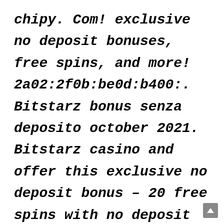chipy. Com! exclusive no deposit bonuses, free spins, and more! 2a02:2f0b:be0d:b400:. Bitstarz bonus senza deposito october 2021. Bitstarz casino and offer this exclusive no deposit bonus – 20 free spins with no deposit on sign-up and an extra. Bitstarz casino no